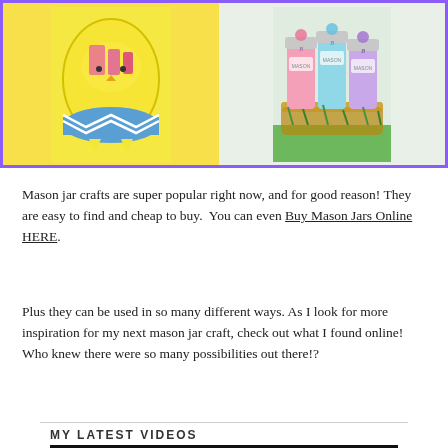[Figure (photo): Two craft images side by side inside a purple border: left shows a yellow Easter egg-shaped mason jar craft, right shows pastel-colored mason jars labeled MASON with decorative lids in a basket with green grass.]
Mason jar crafts are super popular right now, and for good reason! They are easy to find and cheap to buy.  You can even Buy Mason Jars Online HERE.
Plus they can be used in so many different ways. As I look for more inspiration for my next mason jar craft, check out what I found online! Who knew there were so many possibilities out there!?
MY LATEST VIDEOS
[Figure (screenshot): Video player thumbnail — black top bar and grey bottom area representing an embedded video player.]